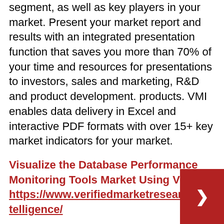segment, as well as key players in your market. Present your market report and results with an integrated presentation function that saves you more than 70% of your time and resources for presentations to investors, sales and marketing, R&D and product development. products. VMI enables data delivery in Excel and interactive PDF formats with over 15+ key market indicators for your market.
Visualize the Database Performance Monitoring Tools Market Using VMI@ https://www.verifiedmarketresearch.com/vmintelligence/
Most Popular Reports
Global Distributed Marketing Solutions Market Size and Forecast